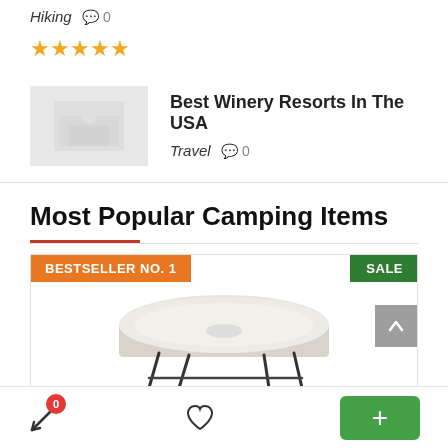Hiking  0
[Figure (other): Five orange/gold star rating icons]
[Figure (photo): Small thumbnail image of winery resort interior]
Best Winery Resorts In The USA
Travel  0
Most Popular Camping Items
BESTSELLER NO. 1
SALE
[Figure (photo): Air mattress / camping cot product photo on folding legs, light beige/white color]